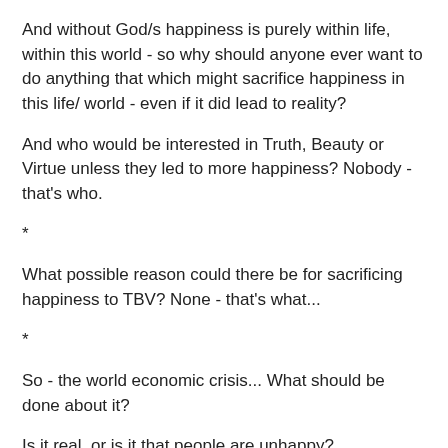And without God/s happiness is purely within life, within this world - so why should anyone ever want to do anything that which might sacrifice happiness in this life/ world - even if it did lead to reality?
And who would be interested in Truth, Beauty or Virtue unless they led to more happiness? Nobody - that's who.
*
What possible reason could there be for sacrificing happiness to TBV? None - that's what...
*
So - the world economic crisis... What should be done about it?
Is it real, or is it that people are unhappy?
Is there really an underlying economic reality?